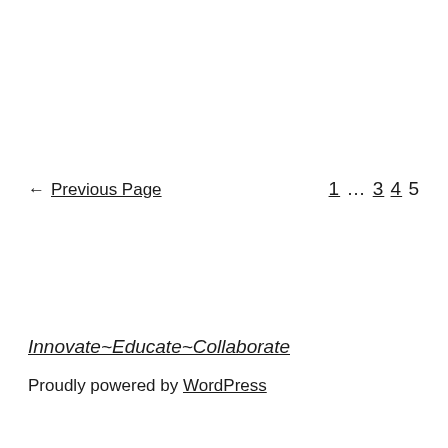← Previous Page   1 … 3 4 5
Innovate~Educate~Collaborate
Proudly powered by WordPress